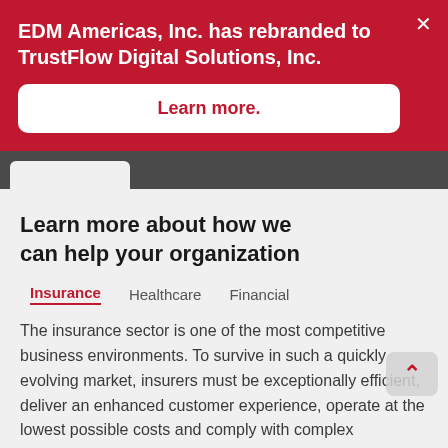EDM Americas, Inc. has rebranded to TrustFlow Digital Solutions, Inc.
Learn more.
Learn more about how we can help your organization
Insurance
Healthcare
Financial
The insurance sector is one of the most competitive business environments. To survive in such a quickly evolving market, insurers must be exceptionally efficient, deliver an enhanced customer experience, operate at the lowest possible costs and comply with complex